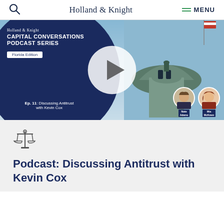Holland & Knight  MENU
[Figure (screenshot): Holland & Knight Capital Conversations Podcast Series - Florida Edition. Ep. 11: Discussing Antitrust with Kevin Cox. Video thumbnail with play button overlay. Hosts Nate Adams and Mia McKown shown at bottom right.]
Podcast: Discussing Antitrust with Kevin Cox